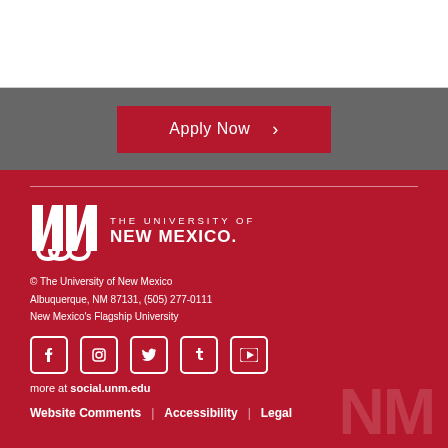[Figure (other): White top section with horizontal rule divider]
[Figure (other): Gray bar with Apply Now button (dark red/crimson background button with chevron)]
[Figure (logo): UNM logo - The University of New Mexico wordmark in white on crimson background]
© The University of New Mexico
Albuquerque, NM 87131, (505) 277-0111
New Mexico's Flagship University
[Figure (other): Social media icons: Facebook, Instagram, Twitter, Tumblr, YouTube]
more at social.unm.edu
Website Comments  Accessibility  Legal